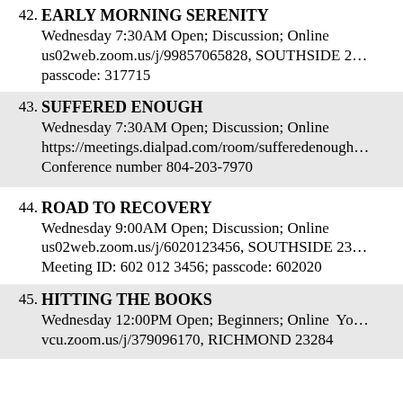42. EARLY MORNING SERENITY
Wednesday 7:30AM Open; Discussion; Online us02web.zoom.us/j/99857065828, SOUTHSIDE 2… passcode: 317715
43. SUFFERED ENOUGH
Wednesday 7:30AM Open; Discussion; Online https://meetings.dialpad.com/room/sufferedenough… Conference number 804-203-7970
44. ROAD TO RECOVERY
Wednesday 9:00AM Open; Discussion; Online us02web.zoom.us/j/6020123456, SOUTHSIDE 23… Meeting ID: 602 012 3456; passcode: 602020
45. HITTING THE BOOKS
Wednesday 12:00PM Open; Beginners; Online Yo… vcu.zoom.us/j/379096170, RICHMOND 23284